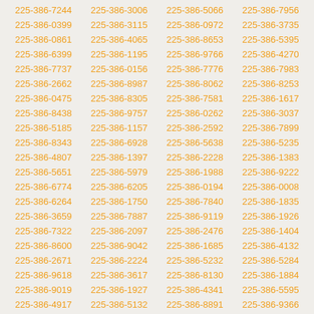| 225-386-7244 | 225-386-3006 | 225-386-5066 | 225-386-7956 |
| 225-386-0399 | 225-386-3115 | 225-386-0972 | 225-386-3735 |
| 225-386-0861 | 225-386-4065 | 225-386-8653 | 225-386-5395 |
| 225-386-6399 | 225-386-1195 | 225-386-9766 | 225-386-4270 |
| 225-386-7737 | 225-386-0156 | 225-386-7776 | 225-386-7983 |
| 225-386-2662 | 225-386-8987 | 225-386-8062 | 225-386-8253 |
| 225-386-0475 | 225-386-8305 | 225-386-7581 | 225-386-1617 |
| 225-386-8438 | 225-386-9757 | 225-386-0262 | 225-386-3037 |
| 225-386-5185 | 225-386-1157 | 225-386-2592 | 225-386-7899 |
| 225-386-8343 | 225-386-6928 | 225-386-5638 | 225-386-5235 |
| 225-386-4807 | 225-386-1397 | 225-386-2228 | 225-386-1383 |
| 225-386-5651 | 225-386-5979 | 225-386-1988 | 225-386-9222 |
| 225-386-6774 | 225-386-6205 | 225-386-0194 | 225-386-0008 |
| 225-386-6264 | 225-386-1750 | 225-386-7840 | 225-386-1835 |
| 225-386-3659 | 225-386-7887 | 225-386-9119 | 225-386-1926 |
| 225-386-7322 | 225-386-2097 | 225-386-2476 | 225-386-1404 |
| 225-386-8600 | 225-386-9042 | 225-386-1685 | 225-386-4132 |
| 225-386-2671 | 225-386-2224 | 225-386-5232 | 225-386-5284 |
| 225-386-9618 | 225-386-3617 | 225-386-8130 | 225-386-1884 |
| 225-386-9019 | 225-386-1927 | 225-386-4341 | 225-386-5595 |
| 225-386-4917 | 225-386-5132 | 225-386-8891 | 225-386-9366 |
| 225-386-0252 | 225-386-9793 | 225-386-1341 | 225-386-0236 |
| 225-386-5445 | 225-386-6799 | 225-386-7981 | 225-386-1913 |
| 225-386-0334 | 225-386-6701 | 225-386-0478 | 225-386-6796 |
| 225-386-1591 | 225-386-6219 | 225-386-0487 | 225-386-6186 |
| 225-386-8566 | 225-386-1010 | 225-386-6663 | 225-386-0292 |
| 225-386-4818 | 225-386-6341 | 225-386-9749 | 225-386-8274 |
| 225-386-4300 | 225-386-0489 | 225-386-1526 | 225-386-6897 |
| 225-386-3784 | 225-386-8231 | 225-386-0457 | 225-386-2440 |
| 225-386-6153 | 225-386-0493 | 225-386-0514 | 225-386-1045 |
| 225-386-3000 | 225-386-1000 | 225-386-0001 | 225-386-9999 |